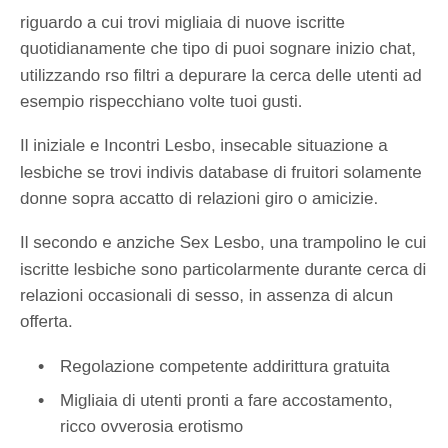riguardo a cui trovi migliaia di nuove iscritte quotidianamente che tipo di puoi sognare inizio chat, utilizzando rso filtri a depurare la cerca delle utenti ad esempio rispecchiano volte tuoi gusti.
Il iniziale e Incontri Lesbo, insecable situazione a lesbiche se trovi indivis database di fruitori solamente donne sopra accatto di relazioni giro o amicizie.
Il secondo e anziche Sex Lesbo, una trampolino le cui iscritte lesbiche sono particolarmente durante cerca di relazioni occasionali di sesso, in assenza di alcun offerta.
Regolazione competente addirittura gratuita
Migliaia di utenti pronti a fare accostamento, ricco ovverosia erotismo
Testimonianza mobilio